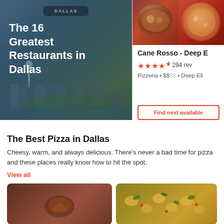[Figure (photo): Dallas city skyline with overlay text showing 'The 16 Greatest Restaurants in Dallas' and a DALLAS badge label]
[Figure (photo): Two food photos side by side at the top of a restaurant card — a bowl of food and a pizza]
Cane Rosso - Deep E
★★★★½  294 rev
Pizzeria • $$$$ • Deep Ell
Find next available
The Best Pizza in Dallas
Cheesy, warm, and always delicious. There's never a bad time for pizza and these places really know how to hit the spot.
View all
[Figure (photo): Pizza restaurant logo or food image with dark brown tones]
[Figure (photo): Close-up food photo showing gnocchi or potato dish with herbs on top]